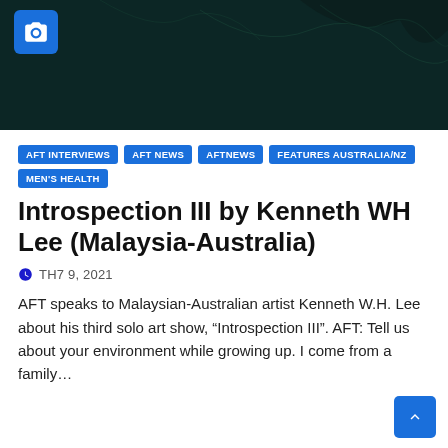[Figure (photo): Dark teal/black background image with faint abstract patterns, camera icon overlay in blue box at top left]
AFT INTERVIEWS
AFT NEWS
AFTNEWS
FEATURES AUSTRALIA/NZ
MEN'S HEALTH
Introspection III by Kenneth WH Lee (Malaysia-Australia)
TH7 9, 2021
AFT speaks to Malaysian-Australian artist Kenneth W.H. Lee about his third solo art show, “Introspection III”. AFT: Tell us about your environment while growing up. I come from a family…